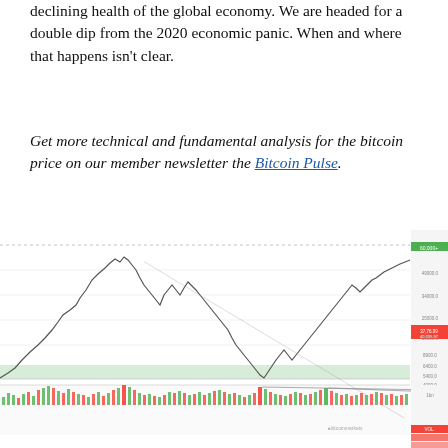declining health of the global economy. We are headed for a double dip from the 2020 economic panic. When and where that happens isn't clear.
Get more technical and fundamental analysis for the bitcoin price on our member newsletter the Bitcoin Pulse.
[Figure (continuous-plot): Bitcoin price chart showing historical price action with candlesticks, a volume bar chart below with annotations 'Elon short squeeze' and 'No breakout volume', and a green horizontal support band. The chart covers a multi-year period with price ranging from roughly $3,400 to near $60,000+.]